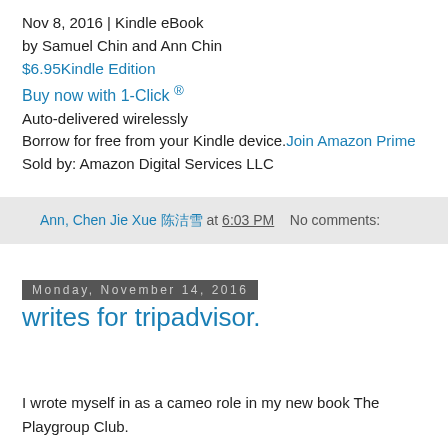Nov 8, 2016 | Kindle eBook
by Samuel Chin and Ann Chin
$6.95Kindle Edition
Buy now with 1-Click ®
Auto-delivered wirelessly
Borrow for free from your Kindle device. Join Amazon Prime
Sold by: Amazon Digital Services LLC
Ann, Chen Jie Xue 陈洁雪 at 6:03 PM   No comments:
Monday, November 14, 2016
writes for tripadvisor.
I wrote myself in as a cameo role in my new book The Playgroup Club.
Ann, you've attracted quite an audience